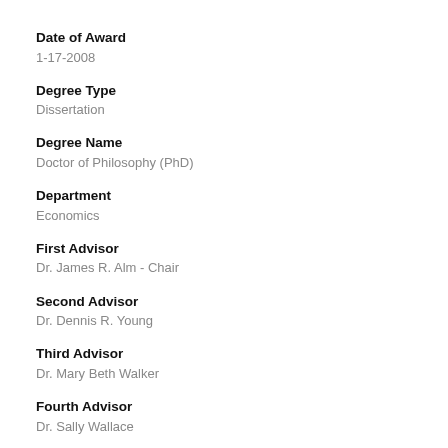Date of Award
1-17-2008
Degree Type
Dissertation
Degree Name
Doctor of Philosophy (PhD)
Department
Economics
First Advisor
Dr. James R. Alm - Chair
Second Advisor
Dr. Dennis R. Young
Third Advisor
Dr. Mary Beth Walker
Fourth Advisor
Dr. Sally Wallace
Fifth Advisor